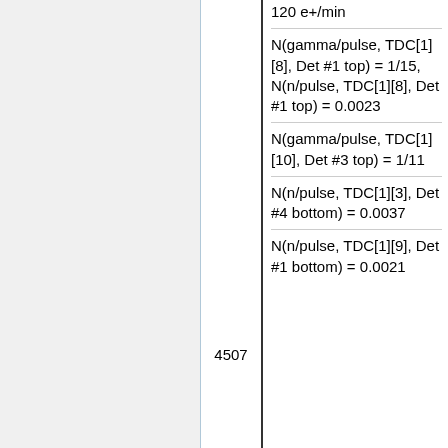|  | 4507 | 120 e+/min

N(gamma/pulse, TDC[1][8], Det #1 top) = 1/15,
N(n/pulse, TDC[1][8], Det #1 top) = 0.0023

N(gamma/pulse, TDC[1][10], Det #3 top) = 1/11

N(n/pulse, TDC[1][3], Det #4 bottom) = 0.0037

N(n/pulse, TDC[1][9], Det #1 bottom) = 0.0021 |